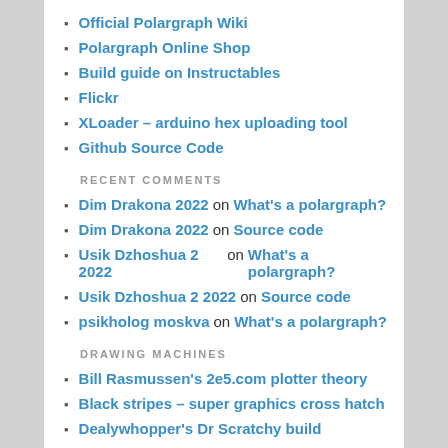Official Polargraph Wiki
Polargraph Online Shop
Build guide on Instructables
Flickr
XLoader – arduino hex uploading tool
Github Source Code
RECENT COMMENTS
Dim Drakona 2022 on What's a polargraph?
Dim Drakona 2022 on Source code
Usik Dzhoshua 2 2022 on What's a polargraph?
Usik Dzhoshua 2 2022 on Source code
psikholog moskva on What's a polargraph?
DRAWING MACHINES
Bill Rasmussen's 2e5.com plotter theory
Black stripes – super graphics cross hatch
Dealywhopper's Dr Scratchy build
Der Kritzler
God thats interesting